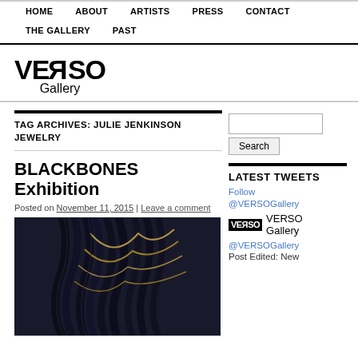HOME | ABOUT | ARTISTS | PRESS | CONTACT | THE GALLERY | PAST
[Figure (logo): VERSO Gallery logo in bold black text with reversed R]
TAG ARCHIVES: JULIE JENKINSON JEWELRY
BLACKBONES Exhibition
Posted on November 11, 2015 | Leave a comment
[Figure (photo): Close-up photo of BLACKBONES jewelry — dark leather cords and gold chain pieces against dark background]
Follow @VERSOGallery
LATEST TWEETS
[Figure (logo): Small VERSO Gallery logo thumbnail]
VERSO Gallery
@VERSOGallery
Post Edited: New